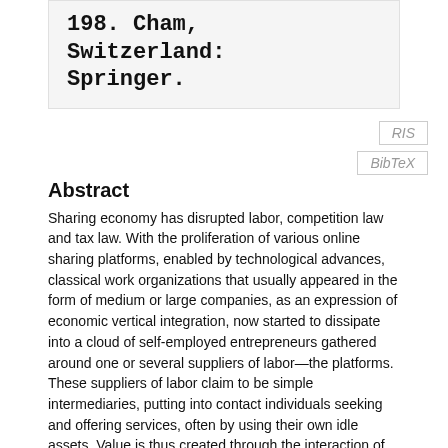198. Cham, Switzerland: Springer.
RIS
BibTeX
Abstract
Sharing economy has disrupted labor, competition law and tax law. With the proliferation of various online sharing platforms, enabled by technological advances, classical work organizations that usually appeared in the form of medium or large companies, as an expression of economic vertical integration, now started to dissipate into a cloud of self-employed entrepreneurs gathered around one or several suppliers of labor—the platforms. These suppliers of labor claim to be simple intermediaries, putting into contact individuals seeking and offering services, often by using their own idle assets. Value is thus created through the interaction of many dispersed individuals, rather than by a single centralized entity. As will be explained in this chapter, there are currently not